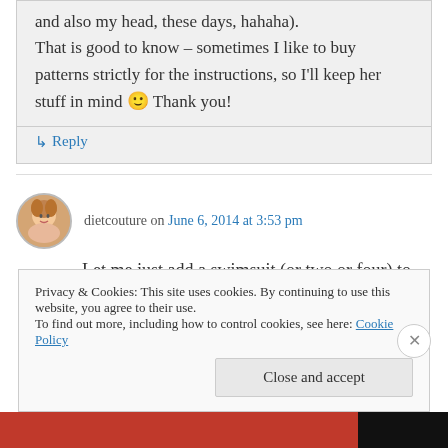and also my head, these days, hahaha). That is good to know – sometimes I like to buy patterns strictly for the instructions, so I'll keep her stuff in mind 🙂 Thank you!
↳ Reply
dietcouture on June 6, 2014 at 3:53 pm
Let me just add a swimsuit (or two or four) to my rapidly growing to-do list 🙂 Although I do really want (need!!) to make some underwear and I
Privacy & Cookies: This site uses cookies. By continuing to use this website, you agree to their use.
To find out more, including how to control cookies, see here: Cookie Policy
Close and accept